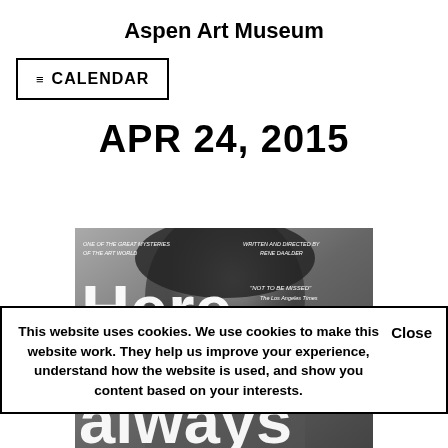Aspen Art Museum
≡ CALENDAR
APR 24, 2015
[Figure (photo): Movie poster or still for a film. Large white text reads 'Here' and partially 'always' at bottom. Top-left italic text: 'ONE OF THE GREAT MYSTERIES OF THE ART WORLD'. Top-right italic text: 'WRITTEN AND DIRECTED BY RENE DAALDER'. Right side italic quote: '"NOT TO BE MISSED" The Los Angeles Times'. Grayscale image with person's head visible.]
This website uses cookies. We use cookies to make this website work. They help us improve your experience, understand how the website is used, and show you content based on your interests.    Close